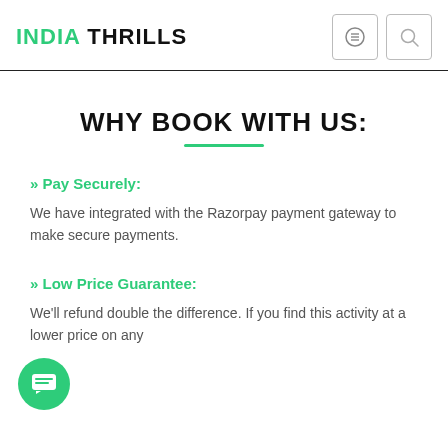INDIA THRILLS
WHY BOOK WITH US:
» Pay Securely:
We have integrated with the Razorpay payment gateway to make secure payments.
» Low Price Guarantee:
We'll refund double the difference. If you find this activity at a lower price on any